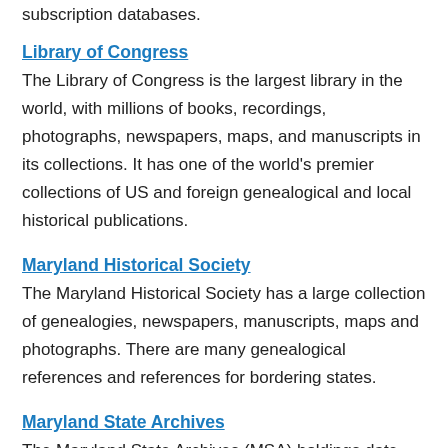subscription databases.
Library of Congress
The Library of Congress is the largest library in the world, with millions of books, recordings, photographs, newspapers, maps, and manuscripts in its collections. It has one of the world's premier collections of US and foreign genealogical and local historical publications.
Maryland Historical Society
The Maryland Historical Society has a large collection of genealogies, newspapers, manuscripts, maps and photographs. There are many genealogical references and references for bordering states.
Maryland State Archives
The Maryland State Archives (MSA) holdings date from Maryland's founding in 1634, and include colonial and state